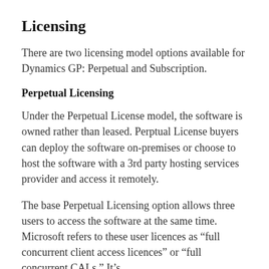Licensing
There are two licensing model options available for Dynamics GP: Perpetual and Subscription.
Perpetual Licensing
Under the Perpetual License model, the software is owned rather than leased. Perptual License buyers can deploy the software on-premises or choose to host the software with a 3rd party hosting services provider and access it remotely.
The base Perpetual Licensing option allows three users to access the software at the same time. Microsoft refers to these user licences as “full concurrent client access licences” or “full concurrent CALs.” It’s